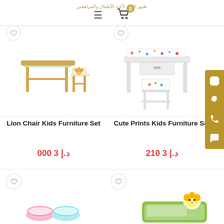Navigation header with hamburger menu and cart icon (0 items)
[Figure (photo): Lion Chair Kids Furniture Set product image - wooden kids table and lion-themed chair]
Lion Chair Kids Furniture Set
د.إ 3 000
[Figure (photo): Cute Prints Kids Furniture Set product image - white kids desk and chair with colorful animal prints]
Cute Prints Kids Furniture Set
د.إ 3 210
[Figure (photo): Bottom left product - pastel colored poufs/stools in pink and blue]
[Figure (photo): Bottom right product - kids activity table mat with animal design in green]